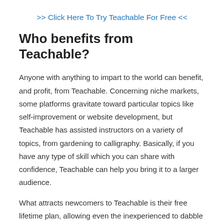>> Click Here To Try Teachable For Free <<
Who benefits from Teachable?
Anyone with anything to impart to the world can benefit, and profit, from Teachable. Concerning niche markets, some platforms gravitate toward particular topics like self-improvement or website development, but Teachable has assisted instructors on a variety of topics, from gardening to calligraphy. Basically, if you have any type of skill which you can share with confidence, Teachable can help you bring it to a larger audience.
What attracts newcomers to Teachable is their free lifetime plan, allowing even the inexperienced to dabble in website and course creation. Advanced course creators make the switch to it because of its outstanding marketing and advertising tools that give them the freedom to construct their online brand identity and gain a